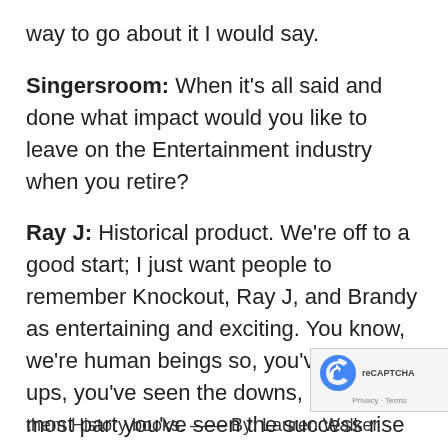way to go about it I would say.
Singersroom: When it's all said and done what impact would you like to leave on the Entertainment industry when you retire?
Ray J: Historical product. We're off to a good start; I just want people to remember Knockout, Ray J, and Brandy as entertaining and exciting. You know, we're human beings so, you've seen the ups, you've seen the downs, but for the most part you've seen the success rise and people can look at that and be inspired from that, and work hard from just seeing the things we've done and accomplished. That's the goal, g them History books. —— By: Lauren Walker
[Figure (logo): Google reCAPTCHA badge with refresh icon and Privacy · Terms text]